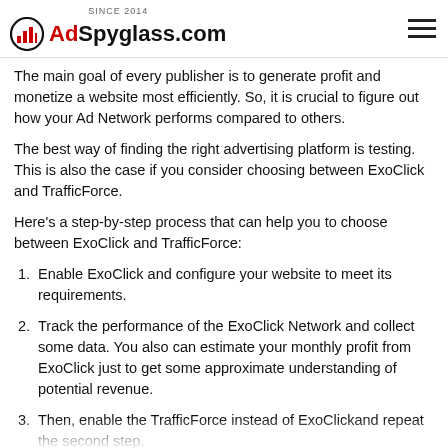SINCE 2014 | AdSpyglass.com
The main goal of every publisher is to generate profit and monetize a website most efficiently. So, it is crucial to figure out how your Ad Network performs compared to others.
The best way of finding the right advertising platform is testing. This is also the case if you consider choosing between ExoClick and TrafficForce.
Here’s a step-by-step process that can help you to choose between ExoClick and TrafficForce:
Enable ExoClick and configure your website to meet its requirements.
Track the performance of the ExoClick Network and collect some data. You also can estimate your monthly profit from ExoClick just to get some approximate understanding of potential revenue.
Then, enable the TrafficForce instead of ExoClickand repeat the second step.
After...